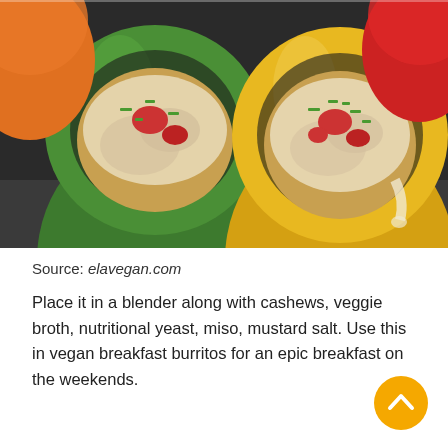[Figure (photo): Close-up photo of stuffed bell peppers (green and yellow) filled with a savory mixture, topped with melted cheese, diced tomatoes, and chopped green onions, sitting in a baking pan.]
Source: elavegan.com
Place it in a blender along with cashews, veggie broth, nutritional yeast, miso, mustard salt. Use this in vegan breakfast burritos for an epic breakfast on the weekends.